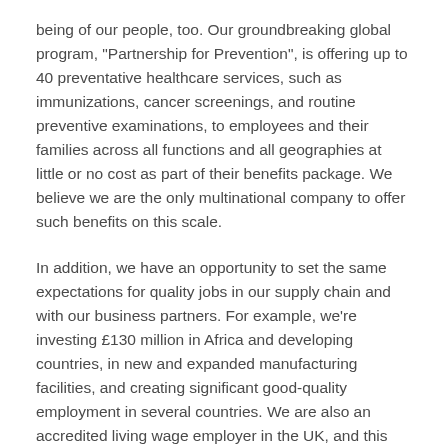being of our people, too. Our groundbreaking global program, "Partnership for Prevention", is offering up to 40 preventative healthcare services, such as immunizations, cancer screenings, and routine preventive examinations, to employees and their families across all functions and all geographies at little or no cost as part of their benefits package. We believe we are the only multinational company to offer such benefits on this scale.
In addition, we have an opportunity to set the same expectations for quality jobs in our supply chain and with our business partners. For example, we're investing £130 million in Africa and developing countries, in new and expanded manufacturing facilities, and creating significant good-quality employment in several countries. We are also an accredited living wage employer in the UK, and this commitment extends to contractors working through suppliers at GSK sites, too.